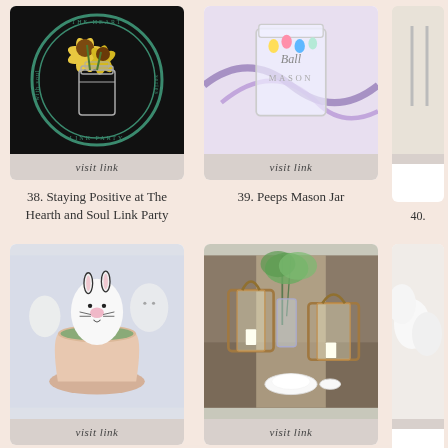[Figure (photo): Logo for The Heart and Soul Link Party with sunflowers in a mason jar, circular design on black background]
visit link
38. Staying Positive at The Hearth and Soul Link Party
[Figure (photo): Colorful Peeps Mason Jar craft with painted bunnies and purple ribbons]
visit link
39. Peeps Mason Jar
40.
[Figure (photo): White Easter eggs with hand-drawn bunny faces in a rustic terracotta pot with moss]
visit link
41. Thumbprint Bunny Easter Eggs
[Figure (photo): Elegant Easter table setting with wooden lanterns, greenery, and white place settings]
visit link
42. Easter Table Setting #2
43.